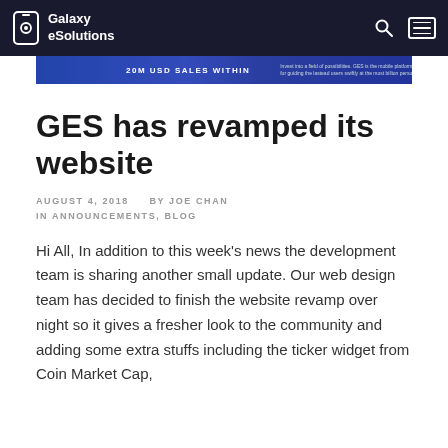Galaxy eSolutions
[Figure (screenshot): Blue banner strip with text '20M USD SALES WITHIN' and small text on the right]
GES has revamped its website
AUGUST 4, 2018    BY JOE CHAN
IN ANNOUNCEMENTS, BLOG
Hi All, In addition to this week's news the development team is sharing another small update. Our web design team has decided to finish the website revamp over night so it gives a fresher look to the community and adding some extra stuffs including the ticker widget from Coin Market Cap,